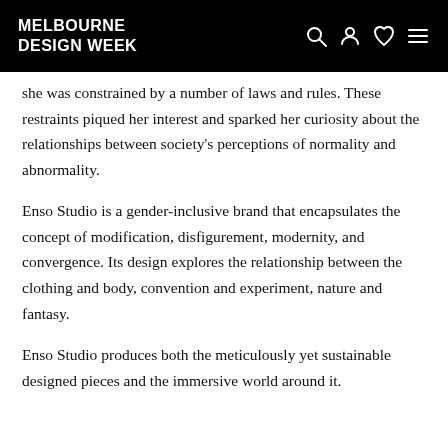MELBOURNE DESIGN WEEK
she was constrained by a number of laws and rules. These restraints piqued her interest and sparked her curiosity about the relationships between society's perceptions of normality and abnormality.
Enso Studio is a gender-inclusive brand that encapsulates the concept of modification, disfigurement, modernity, and convergence. Its design explores the relationship between the clothing and body, convention and experiment, nature and fantasy.
Enso Studio produces both the meticulously yet sustainable designed pieces and the immersive world around it.